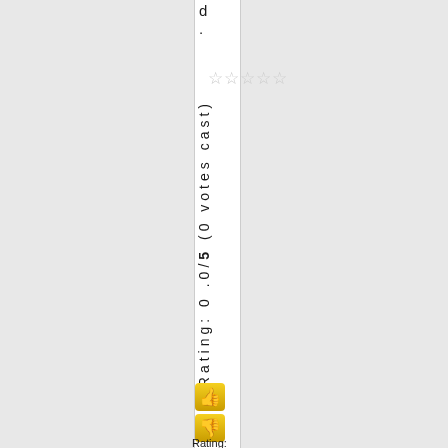d.
[Figure (other): Five empty/outline star rating icons displayed horizontally]
Rating: 0 .0/5 (0 votes cast)
[Figure (other): Thumbs up emoji icon on yellow/gold background]
[Figure (other): Thumbs down emoji icon on yellow/gold background]
Rating: